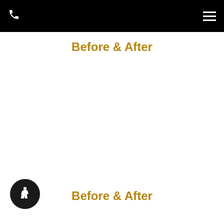Before & After
[Figure (other): Accessibility button with wheelchair icon]
Before & After